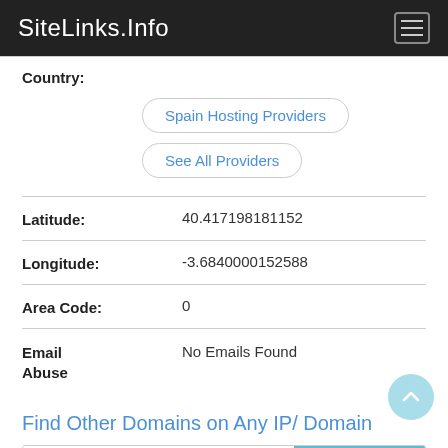SiteLinks.Info
Country:
Spain Hosting Providers
See All Providers
Latitude: 40.417198181152
Longitude: -3.6840000152588
Area Code: 0
Email Abuse: No Emails Found
Find Other Domains on Any IP/ Domain
Barakaldo.eus